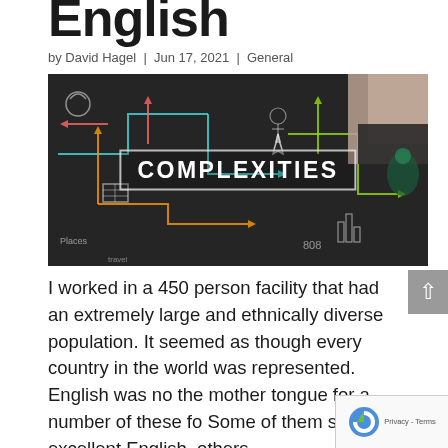English
by David Hagel | Jun 17, 2021 | General
[Figure (photo): Chalkboard with colorful chalk diagrams and arrows, with a hand drawing. Text overlay reads COMPLEXITIES in white bold letters inside a white-bordered rectangle.]
I worked in a 450 person facility that had an extremely large and ethnically diverse population. It seemed as though every country in the world was represented. English was no the mother tongue for a number of these fo Some of them spoke excellent English, others